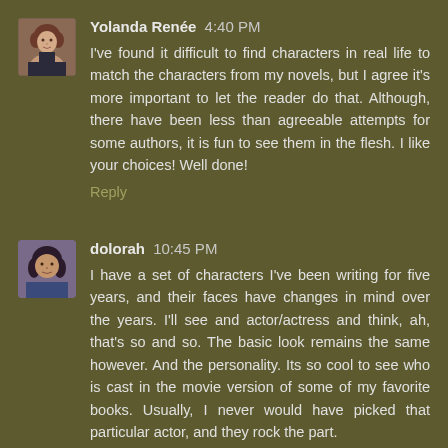Yolanda Renée 4:40 PM
I've found it difficult to find characters in real life to match the characters from my novels, but I agree it's more important to let the reader do that. Although, there have been less than agreeable attempts for some authors, it is fun to see them in the flesh. I like your choices! Well done!
Reply
dolorah 10:45 PM
I have a set of characters I've been writing for five years, and their faces have changes in mind over the years. I'll see and actor/actress and think, ah, that's so and so. The basic look remains the same however. And the personality. Its so cool to see who is cast in the movie version of some of my favorite books. Usually, I never would have picked that particular actor, and they rock the part.
Reply